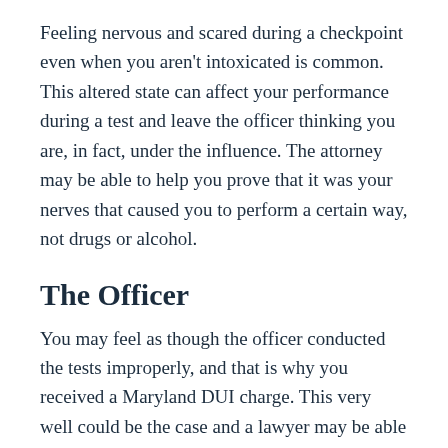Feeling nervous and scared during a checkpoint even when you aren't intoxicated is common. This altered state can affect your performance during a test and leave the officer thinking you are, in fact, under the influence. The attorney may be able to help you prove that it was your nerves that caused you to perform a certain way, not drugs or alcohol.
The Officer
You may feel as though the officer conducted the tests improperly, and that is why you received a Maryland DUI charge. This very well could be the case and a lawyer may be able to help you prove that and help you get your charges dropped.
If you feel...